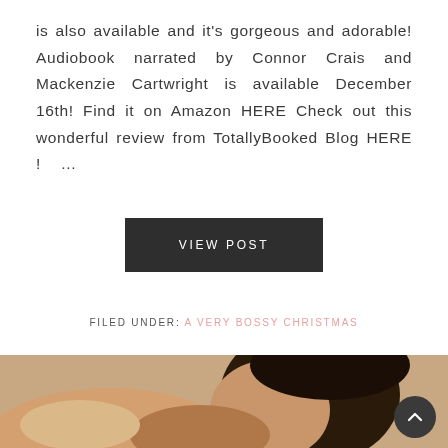is also available and it's gorgeous and adorable! Audiobook narrated by Connor Crais and Mackenzie Cartwright is available December 16th! Find it on Amazon HERE Check out this wonderful review from TotallyBooked Blog HERE !   ...
VIEW POST
FILED UNDER: A VERY BOSSY CHRISTMAS
[Figure (photo): Partial photo of a person, close-up, visible from shoulders up, dark hair, showing face/side profile, cropped at bottom of page]